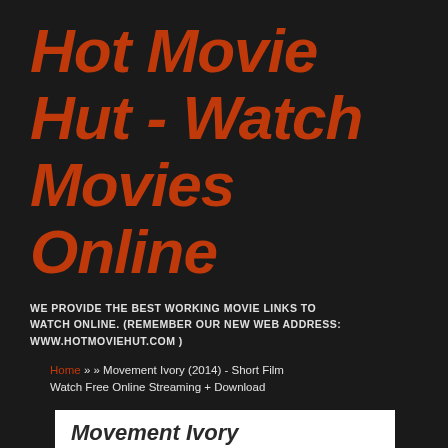Hot Movie Hut - Watch Movies Online
WE PROVIDE THE BEST WORKING MOVIE LINKS TO WATCH ONLINE. (REMEMBER OUR NEW WEB ADDRESS: WWW.HOTMOVIEHUT.COM )
Home » » Movement Ivory (2014) - Short Film Watch Free Online Streaming + Download
Movement Ivory